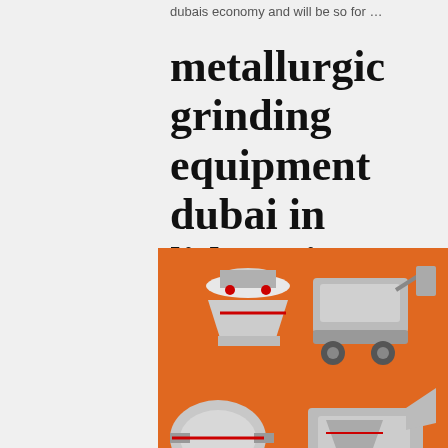dubais economy and will be so for …
metallurgic grinding equipment dubai in lithuania
Metallurgic Grinding Equipment Dubai. Metallurgic Grinding Equipment Dubai We are a largescale manufacturer specializing in producing various machines including different types of sand and equipment milling equipment mineral processing equipment and building materials equipment.
Details →
[Figure (illustration): Industrial mining/grinding machinery illustration on orange background with discount and chat CTA]
metallurgic grinding equipment dubai
Metallurgic Grinding Equipment Dubai Du…